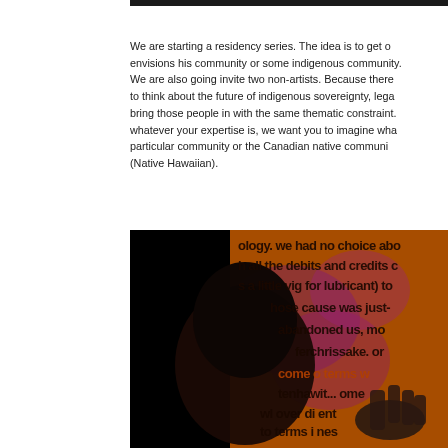We are starting a residency series. The idea is to get o... envisions his community or some indigenous community... We are also going invite two non-artists. Because there... to think about the future of indigenous sovereignty, lega... bring those people in with the same thematic constraint.... whatever your expertise is, we want you to imagine wha... particular community or the Canadian native communi... (Native Hawaiian).
[Figure (photo): A photo showing a silhouette of a person's head against a background of orange and purple text projections. The text visible includes phrases like 'we had no choice abo...', 'h all the debits and credits c...', 's a little vig for lubricant) to...', 'hose cause was just-...', 'abandoned us, mo...', 'ferchrissake. or...', 'come o terms w...', 'tenhawit... ome...', 'wl over di...ent...', 'to terms i...nes...', 'where you...']